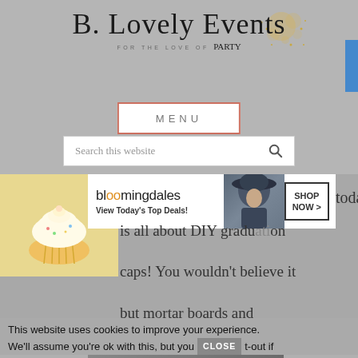[Figure (screenshot): B.Lovely Events website header with cursive logo, 'FOR THE LOVE OF party' subtitle, gold sparkle decoration, blue button on right edge]
[Figure (screenshot): MENU button with red/salmon border outline]
[Figure (screenshot): Search bar with 'Search this website' placeholder text and magnifying glass icon]
[Figure (screenshot): Bloomingdales advertisement: 'bloomingdales View Today's Top Deals!' with model in hat and SHOP NOW > button]
[Figure (photo): Cupcake/cake image on left side]
is all about DIY graduation caps! You wouldn't believe it but mortar boards and
This website uses cookies to improve your experience.
We'll assume you're ok with this, but you can opt-out if
[Figure (screenshot): Macy's advertisement: KISS BORING LIPS GOODBYE with SHOP NOW button and Macy's star logo]
[Figure (screenshot): CLOSE button overlay on cookie notice]